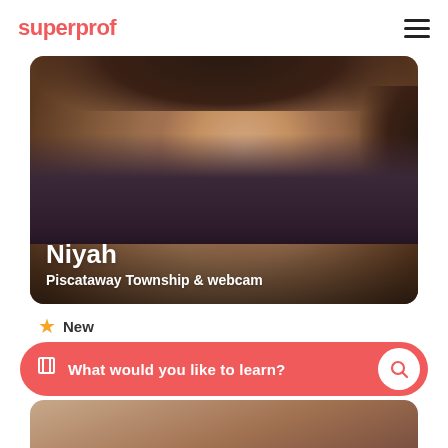superprof
[Figure (photo): Profile photo of tutor Niyah, a young woman looking at camera, with name 'Niyah' and location 'Piscataway Township & webcam' overlaid at bottom of image]
New
Mathmatition, are you ready to learn? because i am redy to teach :)
What would you like to learn?